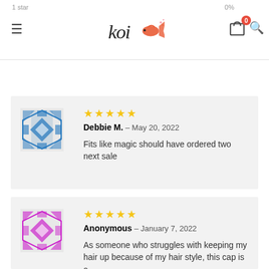1 star  0%  koi [logo]
Add a review
★★★★★  Debbie M. – May 20, 2022
Fits like magic should have ordered two next sale
★★★★★  Anonymous – January 7, 2022
As someone who struggles with keeping my hair up because of my hair style, this cap is a